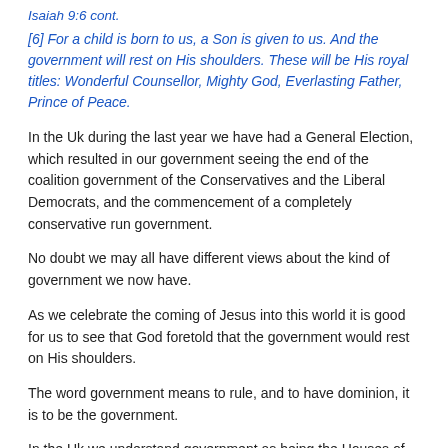Isaiah 9:6 cont.
[6] For a child is born to us, a Son is given to us. And the government will rest on His shoulders. These will be His royal titles: Wonderful Counsellor, Mighty God, Everlasting Father, Prince of Peace.
In the Uk during the last year we have had a General Election, which resulted in our government seeing the end of the coalition government of the Conservatives and the Liberal Democrats, and the commencement of a completely conservative run government.
No doubt we may all have different views about the kind of government we now have.
As we celebrate the coming of Jesus into this world it is good for us to see that God foretold that the government would rest on His shoulders.
The word government means to rule, and to have dominion, it is to be the government.
In the Uk we understand government as being the Houses of Parliament where the political party with the majority of seats formulates all the laws with which they seek to rule the whole